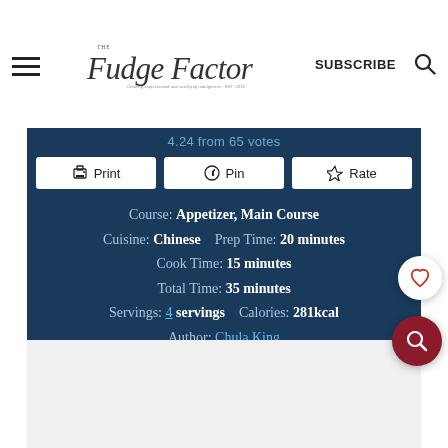The Fudge Factor — SUBSCRIBE
4.24 from 65 votes
Print | Pin | Rate
Course: Appetizer, Main Course   Cuisine: Chinese   Prep Time: 20 minutes   Cook Time: 15 minutes   Total Time: 35 minutes   Servings: 4 servings   Calories: 281kcal   Author: Chula King